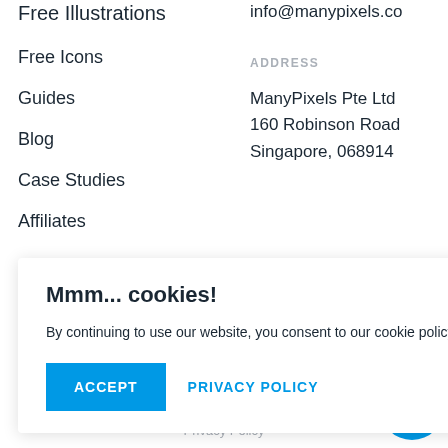Free Illustrations
info@manypixels.co
Free Icons
ADDRESS
Guides
ManyPixels Pte Ltd
160 Robinson Road
Singapore, 068914
Blog
Case Studies
Affiliates
Mmm... cookies!
By continuing to use our website, you consent to our cookie policy.
ACCEPT  PRIVACY POLICY
Privacy Policy